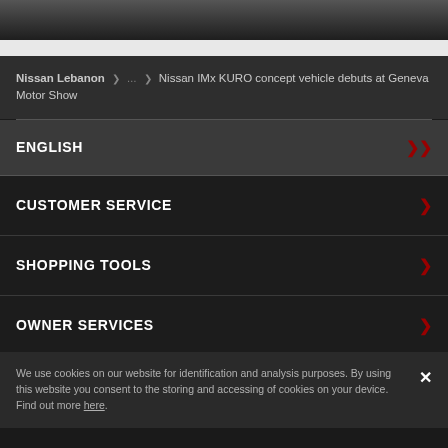[Figure (photo): Top portion of a vehicle photo, dark/silver tones, cropped at top of page]
Nissan Lebanon > … > Nissan IMx KURO concept vehicle debuts at Geneva Motor Show
ENGLISH
CUSTOMER SERVICE
SHOPPING TOOLS
OWNER SERVICES
We use cookies on our website for identification and analysis purposes. By using this website you consent to the storing and accessing of cookies on your device. Find out more here.